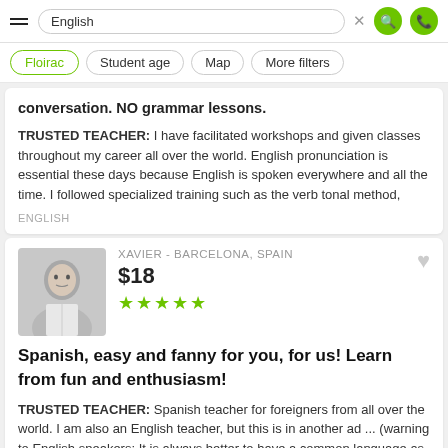English (search bar with filters: Floirac, Student age, Map, More filters)
conversation. NO grammar lessons.
TRUSTED TEACHER: I have facilitated workshops and given classes throughout my career all over the world. English pronunciation is essential these days because English is spoken everywhere and all the time. I followed specialized training such as the verb tonal method,
ENGLISH
XAVIER - BARCELONA, SPAIN
$18
★★★★★
Spanish, easy and fanny for you, for us! Learn from fun and enthusiasm!
TRUSTED TEACHER: Spanish teacher for foreigners from all over the world. I am also an English teacher, but this is in another ad ... (warning to English speakers: It is always better to have a common language as a vehicle for communication to face the challenge of a third language).
SPANISH · ENGLISH